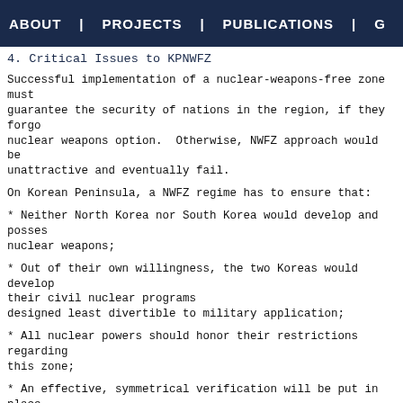ABOUT | PROJECTS | PUBLICATIONS | G
4. Critical Issues to KPNWFZ
Successful implementation of a nuclear-weapons-free zone must guarantee the security of nations in the region, if they forgo nuclear weapons option.  Otherwise, NWFZ approach would be unattractive and eventually fail.
On Korean Peninsula, a NWFZ regime has to ensure that:
* Neither North Korea nor South Korea would develop and possess nuclear weapons;
* Out of their own willingness, the two Koreas would develop their civil nuclear programs designed least divertible to military application;
* All nuclear powers should honor their restrictions regarding this zone;
* An effective, symmetrical verification will be put in place.